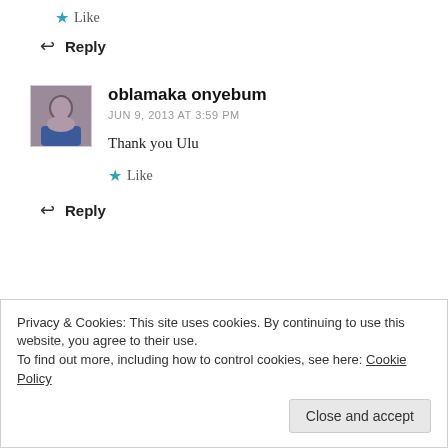★ Like
↩ Reply
oblamaka onyebum
JUN 9, 2013 AT 3:59 PM
Thank you Ulu
★ Like
↩ Reply
Privacy & Cookies: This site uses cookies. By continuing to use this website, you agree to their use.
To find out more, including how to control cookies, see here: Cookie Policy
Close and accept